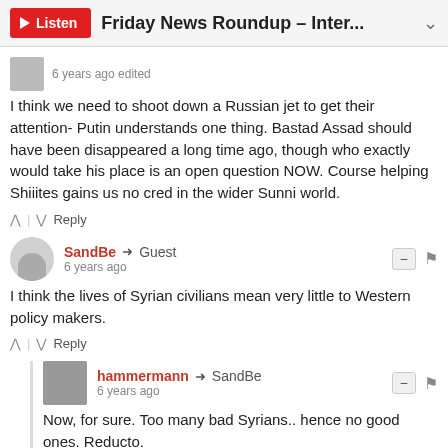Friday News Roundup – Inter...
6 years ago edited
I think we need to shoot down a Russian jet to get their attention- Putin understands one thing. Bastad Assad should have been disappeared a long time ago, though who exactly would take his place is an open question NOW. Course helping Shiiites gains us no cred in the wider Sunni world.
SandBe → Guest
6 years ago
I think the lives of Syrian civilians mean very little to Western policy makers.
hammermann → SandBe
6 years ago
Now, for sure. Too many bad Syrians.. hence no good ones. Reducto.